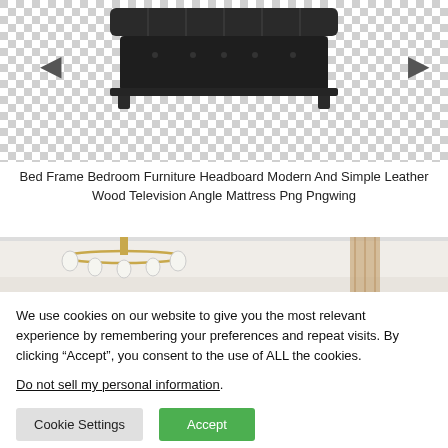[Figure (photo): Bed frame with dark upholstered headboard on a checkered transparent background (PNG product image)]
Bed Frame Bedroom Furniture Headboard Modern And Simple Leather Wood Television Angle Mattress Png Pngwing
[Figure (photo): Interior room photo showing a gold chandelier and white walls]
We use cookies on our website to give you the most relevant experience by remembering your preferences and repeat visits. By clicking “Accept”, you consent to the use of ALL the cookies.
Do not sell my personal information.